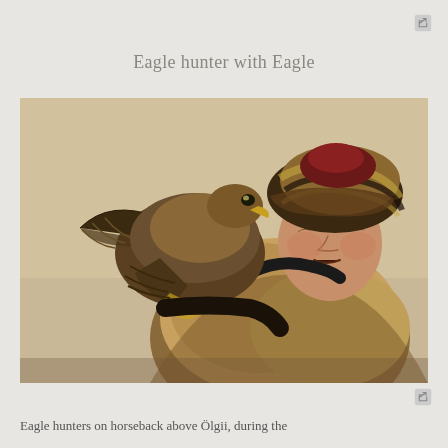Eagle hunter with Eagle
[Figure (photo): Close-up photograph of a Mongolian eagle hunter wearing a fur coat and a striped fur hat, with a large eagle perched on his arm. The eagle's wings are spread. The background is a light beige/cream color.]
Eagle hunters on horseback above Ölgii, during the...